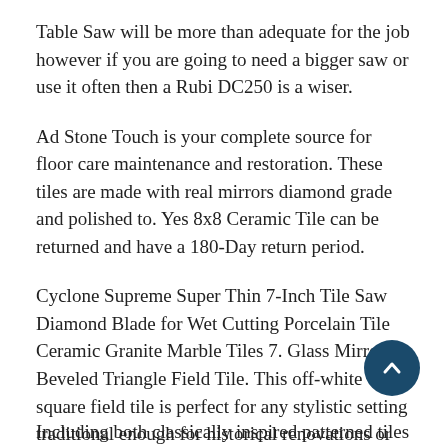Table Saw will be more than adequate for the job however if you are going to need a bigger saw or use it often then a Rubi DC250 is a wiser.
Ad Stone Touch is your complete source for floor care maintenance and restoration. These tiles are made with real mirrors diamond grade and polished to. Yes 8x8 Ceramic Tile can be returned and have a 180-Day return period.
Cyclone Supreme Super Thin 7-Inch Tile Saw Diamond Blade for Wet Cutting Porcelain Tile Ceramic Granite Marble Tiles 7. Glass Mirror Beveled Triangle Field Tile. This off-white square field tile is perfect for any stylistic setting traditional enough for historical renovations or modern enough for new construction.
Including both classically inspired patterned tiles that